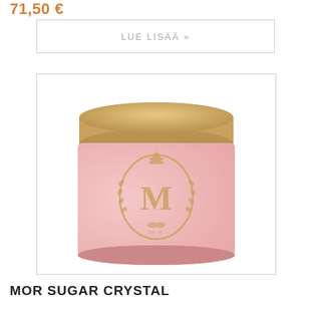71,50 €
LUE LISÄÄ »
[Figure (photo): A pink cylindrical jar with a gold metallic lid. The jar features an embossed gold MOR monogram crest logo on the front. Product is MOR Sugar Crystal body scrub.]
MOR SUGAR CRYSTAL